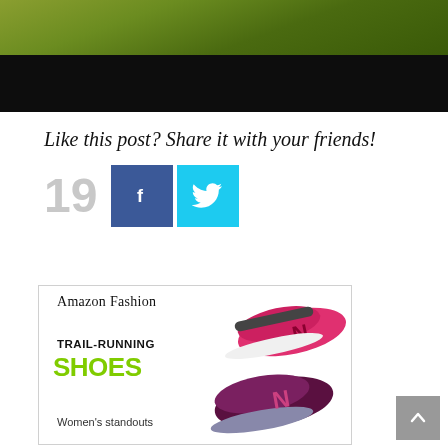[Figure (photo): Landscape/outdoor photo showing grass field in sunlight at top and dark/black band below, appears to be a cropped blog post header image]
Like this post? Share it with your friends!
[Figure (infographic): Share count showing '19' in gray large text next to Facebook (blue) and Twitter (cyan) social share buttons]
[Figure (screenshot): Amazon Fashion advertisement showing 'TRAIL-RUNNING SHOES' with New Balance trail running shoes photo, tagline 'Women's standouts']